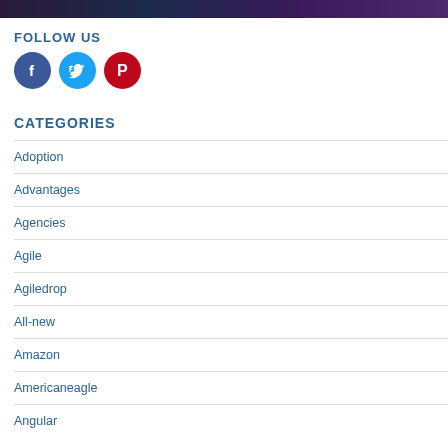[Figure (photo): Dark banner image with purple/dark gradient at top of page]
FOLLOW US
[Figure (infographic): Social media icons: Facebook (blue circle), Twitter (light blue circle), Pinterest (red circle)]
CATEGORIES
Adoption
Advantages
Agencies
Agile
Agiledrop
All-new
Amazon
Americaneagle
Angular